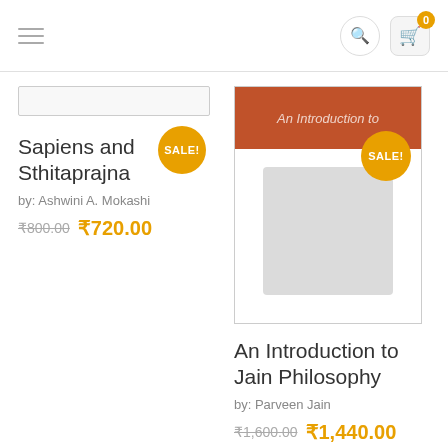[Figure (screenshot): Website header with hamburger menu on left, search icon and cart icon (badge showing 0) on right]
[Figure (other): Search input box, empty]
Sapiens and Sthitaprajna
by: Ashwini A. Mokashi
₹800.00 ₹720.00
[Figure (other): Book cover for An Introduction to Jain Philosophy with terracotta red top band and blurred gray body]
An Introduction to Jain Philosophy
by: Parveen Jain
₹1,600.00 ₹1,440.00